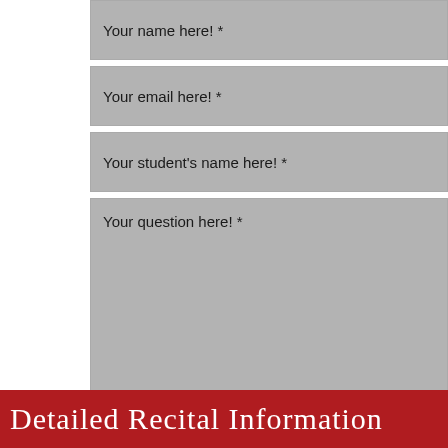Your name here! *
Your email here! *
Your student's name here! *
Your question here! *
Detailed Recital Information